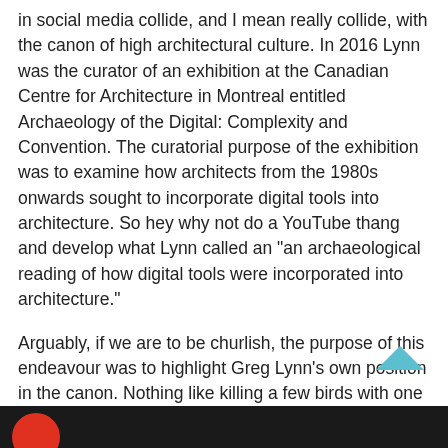in social media collide, and I mean really collide, with the canon of high architectural culture. In 2016 Lynn was the curator of an exhibition at the Canadian Centre for Architecture in Montreal entitled Archaeology of the Digital: Complexity and Convention. The curatorial purpose of the exhibition was to examine how architects from the 1980s onwards sought to incorporate digital tools into architecture. So hey why not do a YouTube thang and develop what Lynn called an “an archaeological reading of how digital tools were incorporated into architecture.”
Arguably, if we are to be churlish, the purpose of this endeavour was to highlight Greg Lynn’s own position in the canon. Nothing like killing a few birds with one stone.
[Figure (photo): Dark/black strip at the bottom of the page showing the top portion of a video thumbnail with a red circular element visible on the left side.]